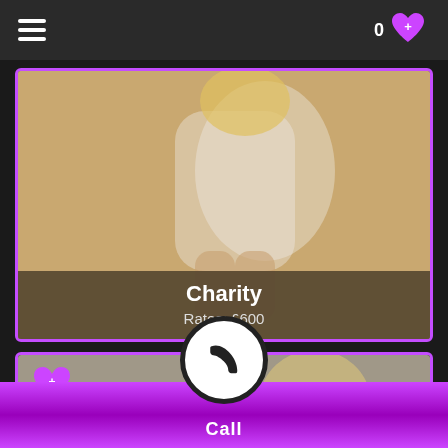Navigation menu and wishlist icon with count 0
[Figure (photo): Blonde woman in white lingerie sitting in a white chair]
Charity
Rates: £600
[Figure (photo): Blonde woman portrait photo, partially visible]
Call